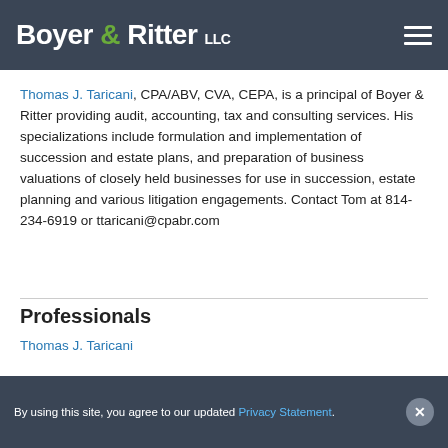Boyer & Ritter LLC
understand the impact on income and estate taxes and to align strategies with your core assets you have worked so hard to accumulate.
Thomas J. Taricani, CPA/ABV, CVA, CEPA, is a principal of Boyer & Ritter providing audit, accounting, tax and consulting services. His specializations include formulation and implementation of succession and estate plans, and preparation of business valuations of closely held businesses for use in succession, estate planning and various litigation engagements. Contact Tom at 814-234-6919 or ttaricani@cpabr.com
Professionals
Thomas J. Taricani
Related Services
By using this site, you agree to our updated Privacy Statement.